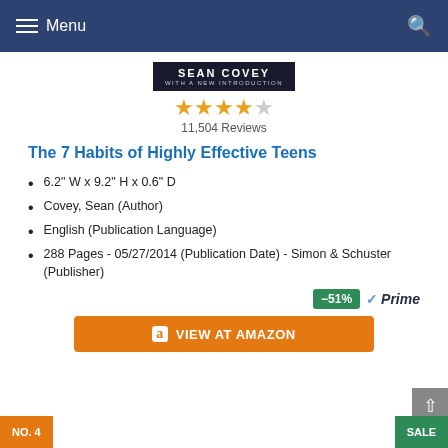Menu
[Figure (illustration): Sean Covey author banner with dark background and white text]
11,504 Reviews
The 7 Habits of Highly Effective Teens
6.2" W x 9.2" H x 0.6" D
Covey, Sean (Author)
English (Publication Language)
288 Pages - 05/27/2014 (Publication Date) - Simon & Schuster (Publisher)
-51% Prime
VIEW AT AMAZON
NO. 4
SALE